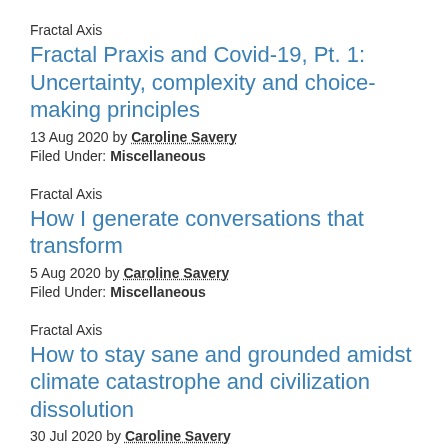Fractal Axis
Fractal Praxis and Covid-19, Pt. 1: Uncertainty, complexity and choice-making principles
13 Aug 2020 by Caroline Savery
Filed Under: Miscellaneous
Fractal Axis
How I generate conversations that transform
5 Aug 2020 by Caroline Savery
Filed Under: Miscellaneous
Fractal Axis
How to stay sane and grounded amidst climate catastrophe and civilization dissolution
30 Jul 2020 by Caroline Savery
Filed Under: Miscellaneous
Fractal Axis
let us be made of love